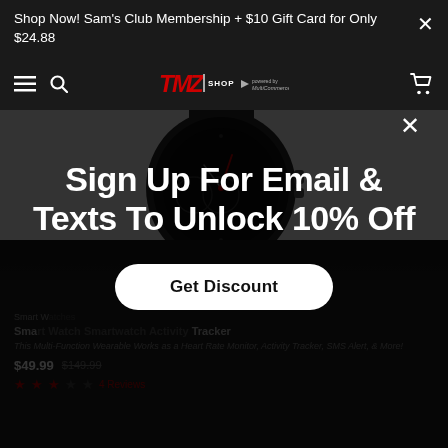Shop Now! Sam's Club Membership + $10 Gift Card for Only $24.88
[Figure (screenshot): TMZ Shop navigation bar with hamburger menu, search icon, TMZ Shop logo, and cart icon]
[Figure (photo): Smart watch with black face and band on white background transitioning to dark]
Smart Watches
Smart Watch Smartwatch Activity Tracker
This Multi-Function Wearable Works as a Heart Rate Monitor, Activity Tracker, SMS Alert, & More!
$49.99 $149.99
4 Reviews
Sign Up For Email & Texts To Unlock 10% Off
Get Discount